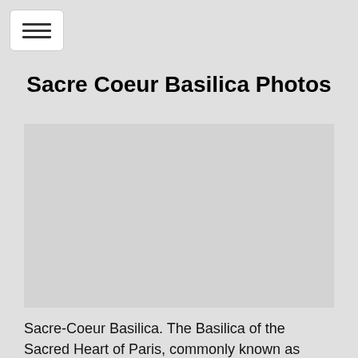[Figure (other): Hamburger menu button with three horizontal lines on a white rounded rectangle background]
Sacre Coeur Basilica Photos
[Figure (photo): Placeholder image area for Sacre Coeur Basilica photo]
Sacre-Coeur Basilica. The Basilica of the Sacred Heart of Paris, commonly known as Sacre-Coeur Basilica, is a Roman Catholic